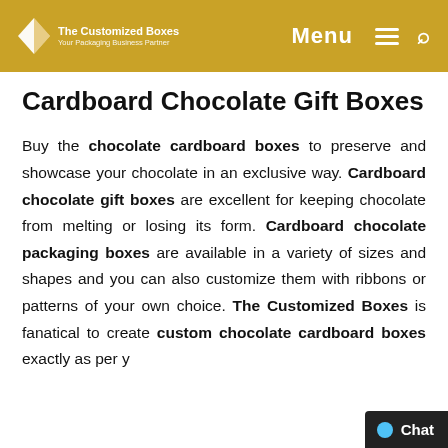The Customized Boxes — Your Packaging Business Partner | Menu | Search
Cardboard Chocolate Gift Boxes
Buy the chocolate cardboard boxes to preserve and showcase your chocolate in an exclusive way. Cardboard chocolate gift boxes are excellent for keeping chocolate from melting or losing its form. Cardboard chocolate packaging boxes are available in a variety of sizes and shapes and you can also customize them with ribbons or patterns of your own choice. The Customized Boxes is fanatical to create custom chocolate cardboard boxes exactly as per y…